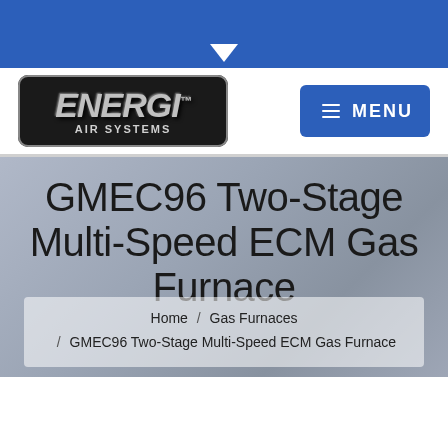[Figure (screenshot): Website screenshot for Energi Air Systems GMEC96 Two-Stage Multi-Speed ECM Gas Furnace product page. Shows blue top navigation bar with dropdown arrow, Energi Air Systems logo, blue MENU button, gray hero banner with title, breadcrumb navigation, and partial product image at bottom.]
GMEC96 Two-Stage Multi-Speed ECM Gas Furnace
Home / Gas Furnaces / GMEC96 Two-Stage Multi-Speed ECM Gas Furnace